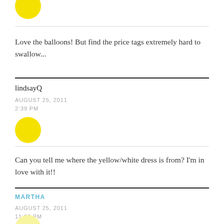[Figure (illustration): Yellow circle avatar at top of page (partially visible)]
Love the balloons! But find the price tags extremely hard to swallow...
lindsayQ
AUGUST 25, 2011
2:39 PM
[Figure (illustration): Yellow circle avatar for lindsayQ comment]
Can you tell me where the yellow/white dress is from? I'm in love with it!!
MARTHA
AUGUST 25, 2011
11:06 PM
[Figure (illustration): Light yellow circle avatar for Martha comment (partially visible at bottom)]